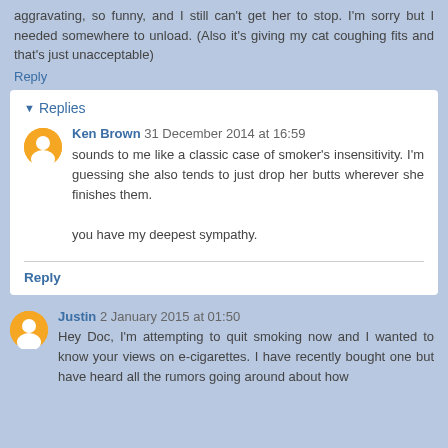aggravating, so funny, and I still can't get her to stop. I'm sorry but I needed somewhere to unload. (Also it's giving my cat coughing fits and that's just unacceptable)
Reply
Replies
Ken Brown 31 December 2014 at 16:59
sounds to me like a classic case of smoker's insensitivity. I'm guessing she also tends to just drop her butts wherever she finishes them.

you have my deepest sympathy.
Reply
Justin 2 January 2015 at 01:50
Hey Doc, I'm attempting to quit smoking now and I wanted to know your views on e-cigarettes. I have recently bought one but have heard all the rumors going around about how